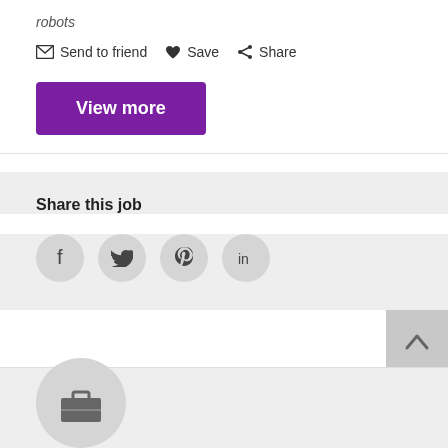robots
✉ Send to friend ♥ Save ⋙ Share
View more
Share this job
[Figure (infographic): Social share icons: Facebook, Twitter, Pinterest, LinkedIn in grey circles]
[Figure (infographic): Back to top arrow button in grey square]
[Figure (infographic): Briefcase icon in a large grey circle at the bottom]